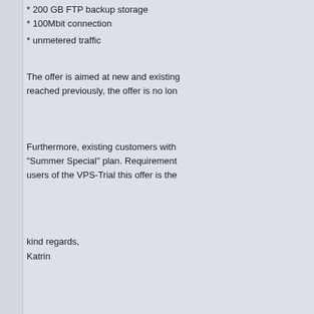* 200 GB FTP backup storage
* 100Mbit connection
* unmetered traffic
The offer is aimed at new and existing customers. If the limit is reached previously, the offer is no longer available.
Furthermore, existing customers with a VPS can upgrade their plan to the "Summer Special" plan. Requirements and conditions apply. For users of the VPS-Trial this offer is the ideal opportunity to upgrade.
kind regards,
Katrin
Pages: [1]   Go Up
Forum EUserv > VPS / virtual private servers > Virtual servers - general > VPS Summe